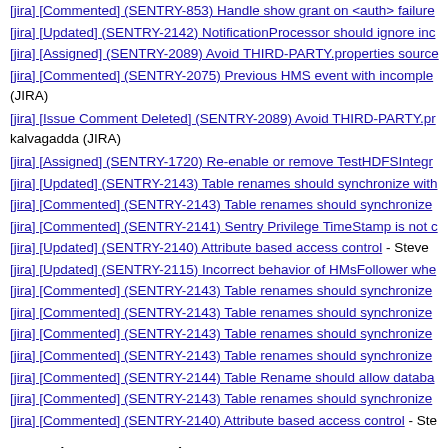[jira] [Commented] (SENTRY-853) Handle show grant on <auth> failure
[jira] [Updated] (SENTRY-2142) NotificationProcessor should ignore inc
[jira] [Assigned] (SENTRY-2089) Avoid THIRD-PARTY.properties source
[jira] [Commented] (SENTRY-2075) Previous HMS event with incomple
(JIRA)
[jira] [Issue Comment Deleted] (SENTRY-2089) Avoid THIRD-PARTY.pr
kalvagadda (JIRA)
[jira] [Assigned] (SENTRY-1720) Re-enable or remove TestHDFSIntegr
[jira] [Updated] (SENTRY-2143) Table renames should synchronize with
[jira] [Commented] (SENTRY-2143) Table renames should synchronize
[jira] [Commented] (SENTRY-2141) Sentry Privilege TimeStamp is not c
[jira] [Updated] (SENTRY-2140) Attribute based access control - Steve
[jira] [Updated] (SENTRY-2115) Incorrect behavior of HMsFollower whe
[jira] [Commented] (SENTRY-2143) Table renames should synchronize
[jira] [Commented] (SENTRY-2143) Table renames should synchronize
[jira] [Commented] (SENTRY-2143) Table renames should synchronize
[jira] [Commented] (SENTRY-2143) Table renames should synchronize
[jira] [Commented] (SENTRY-2144) Table Rename should allow databa
[jira] [Commented] (SENTRY-2143) Table renames should synchronize
[jira] [Commented] (SENTRY-2140) Attribute based access control - Ste
Page 1 (Messages 1 to 25): 1 2 3 4 5 6 7 8